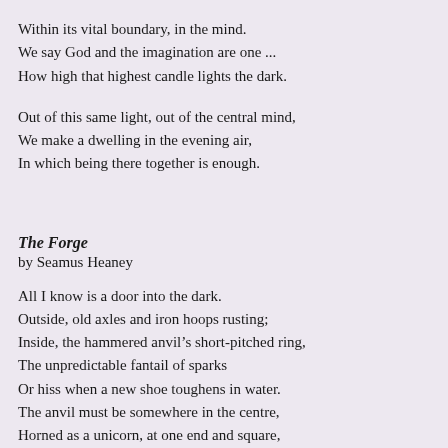Within its vital boundary, in the mind.
We say God and the imagination are one ...
How high that highest candle lights the dark.
Out of this same light, out of the central mind,
We make a dwelling in the evening air,
In which being there together is enough.
The Forge
by Seamus Heaney
All I know is a door into the dark.
Outside, old axles and iron hoops rusting;
Inside, the hammered anvil’s short-pitched ring,
The unpredictable fantail of sparks
Or hiss when a new shoe toughens in water.
The anvil must be somewhere in the centre,
Horned as a unicorn, at one end and square,
Set there immoveable: an altar
Where he expends himself in shape and music.
Sometimes, leather-aproned, hairs in his nose,
He leans out on the jamb, recalls a clatter